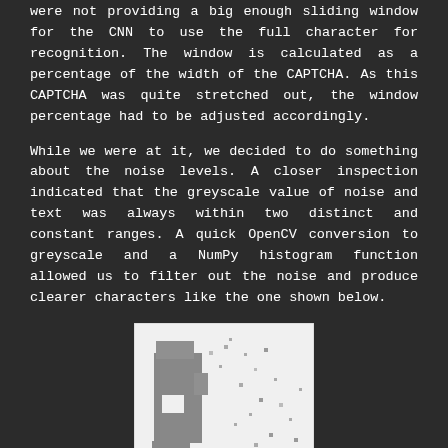were not providing a big enough sliding window for the CNN to use the full character for recognition. The window is calculated as a percentage of the width of the CAPTCHA. As this CAPTCHA was quite stretched out, the window percentage had to be adjusted accordingly.
While we were at it, we decided to do something about the noise levels. A closer inspection indicated that the greyscale value of noise and text was always within two distinct and constant ranges. A quick OpenCV conversion to greyscale and a NumPy histogram function allowed us to filter out the noise and produce clearer characters like the one shown below.
[Figure (photo): A greyscale image of a CAPTCHA character on a white background. The character appears as grey blocky shapes resembling a letter, with scattered noise pixels visible around it.]
We also realised that some of the CAPTCHAs were labelled incorrectly due to human error. Was that an I or l? Y or V? A few quick tests on the online CAPTCHA system gave us hope by